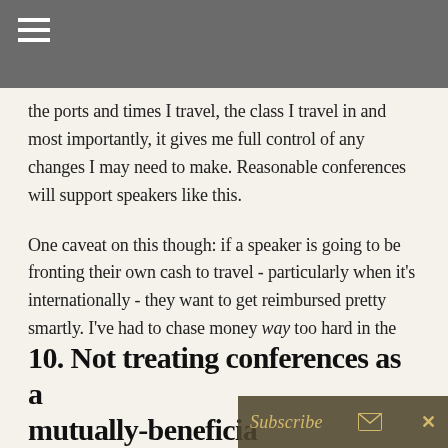the ports and times I travel, the class I travel in and most importantly, it gives me full control of any changes I may need to make. Reasonable conferences will support speakers like this.
One caveat on this though: if a speaker is going to be fronting their own cash to travel - particularly when it's internationally - they want to get reimbursed pretty smartly. I've had to chase money way too hard in the past and this should just never happen, for obvious reasons.
10. Not treating conferences as a mutually-beneficia...